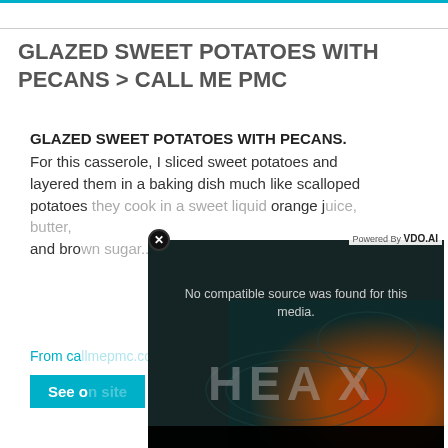GLAZED SWEET POTATOES WITH PECANS > CALL ME PMC
GLAZED SWEET POTATOES WITH PECANS. For this casserole, I sliced sweet potatoes and layered them in a baking dish much like scalloped potatoes. they cook in a sweet liquid orange j... and bro...
From ca...
See o...
[Figure (screenshot): Video player overlay showing 'No compatible source was found for this media.' with HEA X branding on a dark teal/red gradient background. Powered by VDO.AI label visible.]
YUMMY... (WITH P...
2020-10-...
brown su...